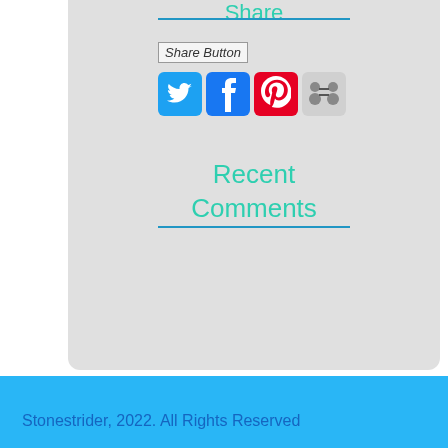Share
[Figure (screenshot): Share Button placeholder image with alt text 'Share Button']
[Figure (screenshot): Row of four social media icons: Twitter (blue bird), Facebook (blue f), Pinterest (red P), LinkedIn/sharing (gray)]
Recent Comments
Stonestrider, 2022. All Rights Reserved